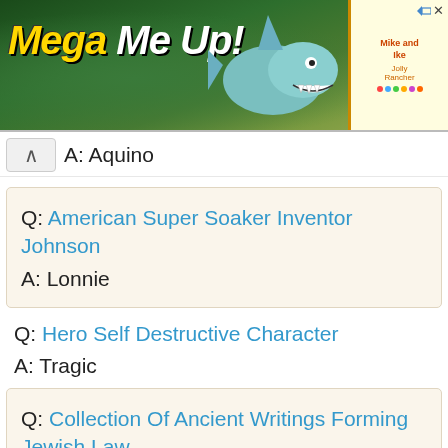[Figure (screenshot): Advertisement banner for 'Mega Me Up!' with a shark illustration and colorful candy/jelly beans imagery]
A: Aquino
Q: American Super Soaker Inventor Johnson
A: Lonnie
Q: Hero Self Destructive Character
A: Tragic
Q: Collection Of Ancient Writings Forming Jewish Law